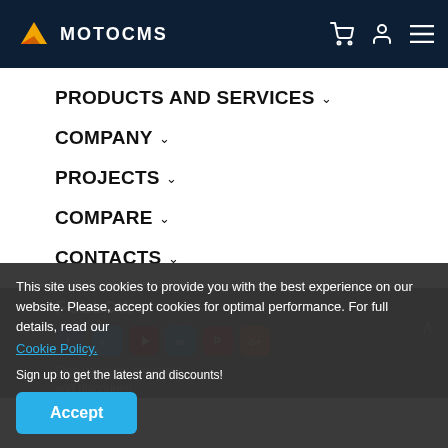MOTOCMS
PRODUCTS AND SERVICES
COMPANY
PROJECTS
COMPARE
CONTACTS
FOLLOW
This site uses cookies to provide you with the best experience on our website. Please, accept cookies for optimal performance. For full details, read our Cookie Policy.
Sign up to get the latest and discounts!
Accept